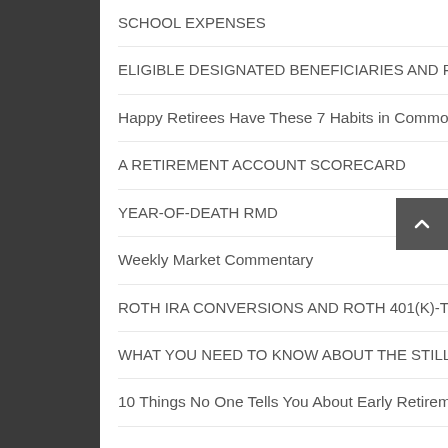SCHOOL EXPENSES
ELIGIBLE DESIGNATED BENEFICIARIES AND RMD AGGREGATION: TODAY'S SLOTT REPORT MAILBAG
Happy Retirees Have These 7 Habits in Common
A RETIREMENT ACCOUNT SCORECARD
YEAR-OF-DEATH RMD
Weekly Market Commentary
ROTH IRA CONVERSIONS AND ROTH 401(K)-TO-ROTH IRA ROLLOVERS: TODAY'S SLOTT REPORT MAILBAG
WHAT YOU NEED TO KNOW ABOUT THE STILL-WORKING EXCEPTION
10 Things No One Tells You About Early Retirement